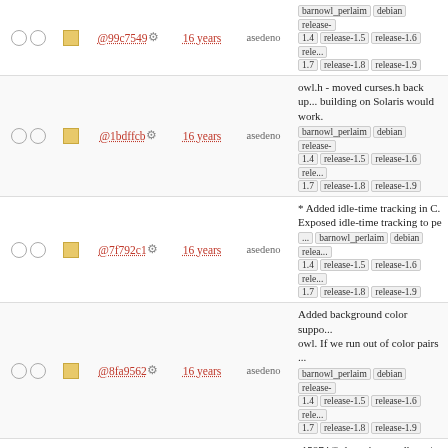@99c7549 | 16 years | asedeno | barnowl_perlaim debian release-1.4 release-1.5 release-1.6 release-1.7 release-1.8 release-1.9
@1bdffcb | 16 years | asedeno | owl.h - moved curses.h back up... building on Solaris would work. barnowl_perlaim debian release-1.4 release-1.5 release-1.6 release-1.7 release-1.8 release-1.9
@7f792c1 | 16 years | asedeno | * Added idle-time tracking in C. Exposed idle-time tracking to pe... barnowl_perlaim debian release-1.4 release-1.5 release-1.6 release-1.7 release-1.8 release-1.9
@8fa9562 | 16 years | asedeno | Added background color support for owl. If we run out of color pairs ... barnowl_perlaim debian release-1.4 release-1.5 release-1.6 release-1.7 release-1.8 release-1.9
@cb769bb | 16 years | nelhage | r15874@phanatique: nelhage | 2006-12-24 18:25:33 -0500 Don't quit ... barnowl_perlaim debian release-1.4 release-1.5 release-1.6 release-1.7 release-1.8 release-1.9
@1b6b2f3 | 16 years | nelhage | Refactoring the editwin code somewhat, and adding the abili hang ... barnowl_perlaim debian release-1.4 release-1.5 release-1.6 release-1.7 release-1.8 release-1.9
@39c036d | 16 years | nelhage | Changing the version number a startup message to include a ... barnowl_perlaim debian release-1.4